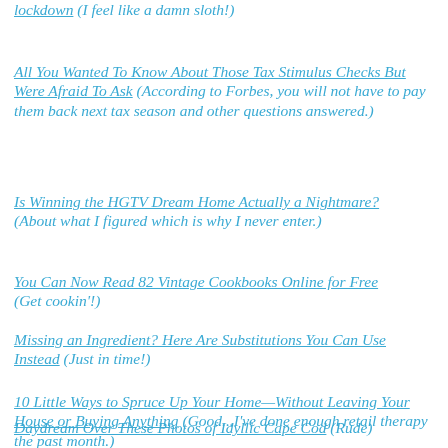lockdown  (I feel like a damn sloth!)
All You Wanted To Know About Those Tax Stimulus Checks But Were Afraid To Ask  (According to Forbes, you will not have to pay them back next tax season and other questions answered.)
Is Winning the HGTV Dream Home Actually a Nightmare? (About what I figured which is why I never enter.)
You Can Now Read 82 Vintage Cookbooks Online for Free (Get cookin'!)
Missing an Ingredient? Here Are Substitutions You Can Use Instead  (Just in time!)
10 Little Ways to Spruce Up Your Home—Without Leaving Your House or Buying Anything  (Good...I've done enough retail therapy the past month.)
Daydream Over These Photos of Idyllic Cape Cod  (Rude)